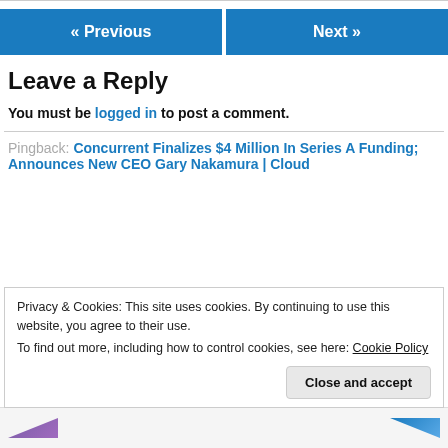« Previous   Next »
Leave a Reply
You must be logged in to post a comment.
Pingback: Concurrent Finalizes $4 Million In Series A Funding; Announces New CEO Gary Nakamura | Cloud
Privacy & Cookies: This site uses cookies. By continuing to use this website, you agree to their use. To find out more, including how to control cookies, see here: Cookie Policy
Close and accept